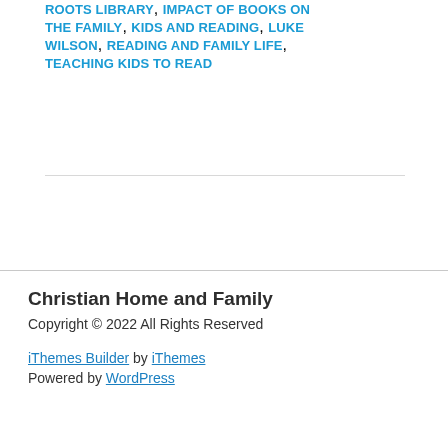ROOTS LIBRARY, IMPACT OF BOOKS ON THE FAMILY, KIDS AND READING, LUKE WILSON, READING AND FAMILY LIFE, TEACHING KIDS TO READ
Christian Home and Family
Copyright © 2022 All Rights Reserved
iThemes Builder by iThemes
Powered by WordPress